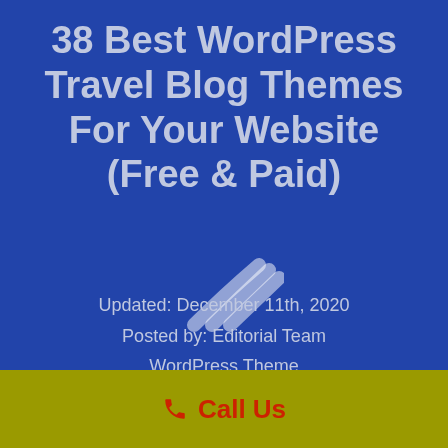38 Best WordPress Travel Blog Themes For Your Website (Free & Paid)
[Figure (illustration): RSS/WiFi signal icon rendered in white semi-transparent curves]
Updated: December 11th, 2020
Posted by: Editorial Team
WordPress Theme
■        ○ No Comments
📞 Call Us